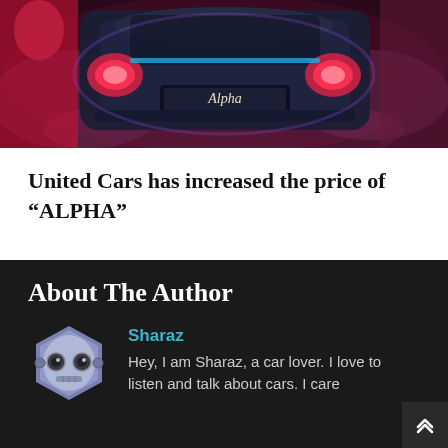[Figure (photo): Rear view of a dark-colored car labeled 'Alpha' with glowing taillights surrounded by purple/red atmospheric lighting and smoke]
United Cars has increased the price of “ALPHA”
About The Author
[Figure (illustration): Robot avatar icon - hexagonal shaped robot face with circular eyes, grey and purple colors]
Sharaz
Hey, I am Sharaz, a car lover. I love to listen and talk about cars. I care